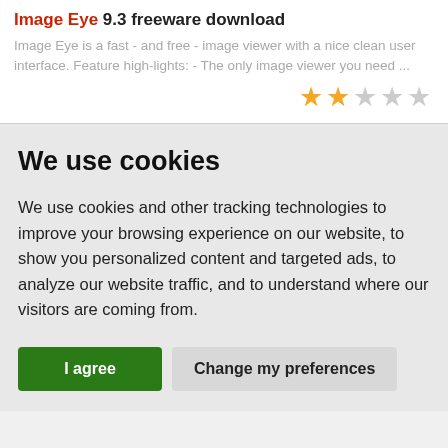Image Eye 9.3 freeware download
Image Eye is a fast - and free - image viewer with a nice clean user interface. Feature high-lights: - The only image viewer you need ...
[Figure (other): 2 filled gold stars and 3 empty stars rating]
We use cookies
We use cookies and other tracking technologies to improve your browsing experience on our website, to show you personalized content and targeted ads, to analyze our website traffic, and to understand where our visitors are coming from.
I agree | Change my preferences